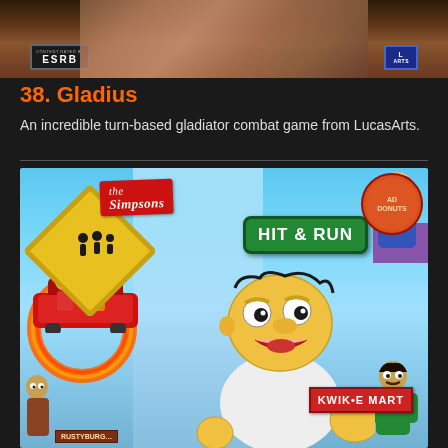[Figure (photo): Top portion of a game cover image showing ESRB rating badge on left and LucasArts logo on right, with brown/fur-like texture background]
38. Gladius
An incredible turn-based gladiator combat game from LucasArts.
[Figure (photo): The Simpsons: Hit & Run video game cover art showing Homer Simpson in the foreground with mouth open, a flaming ring, a red car with Lisa and Bart, road warning sign with Simpsons silhouettes, Hit & Run text in green banner, Kwik-E-Mart sign on right, Apu character, large man on building, and Rusty Burger sign at bottom]